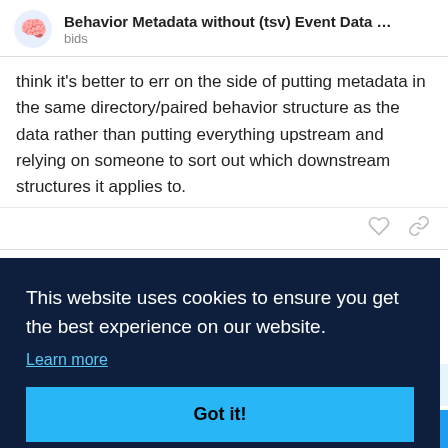Behavior Metadata without (tsv) Event Data … bids
think it's better to err on the side of putting metadata in the same directory/paired behavior structure as the data rather than putting everything upstream and relying on someone to sort out which downstream structures it applies to.
franklin  May '20
that
[Figure (screenshot): Cookie consent overlay with dark navy background. Text: 'This website uses cookies to ensure you get the best experience on our website.' with a 'Learn more' link and a 'Got it!' button in light blue.]